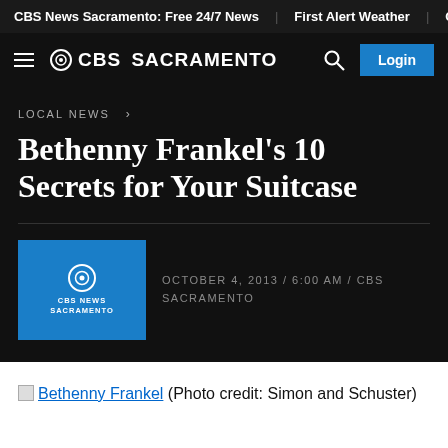CBS News Sacramento: Free 24/7 News | First Alert Weather | CBS Sacr
CBS SACRAMENTO
LOCAL NEWS >
Bethenny Frankel's 10 Secrets for Your Suitcase
OCTOBER 4, 2013 / 6:00 AM / CBS SACRAMENTO
Bethenny Frankel (Photo credit: Simon and Schuster)